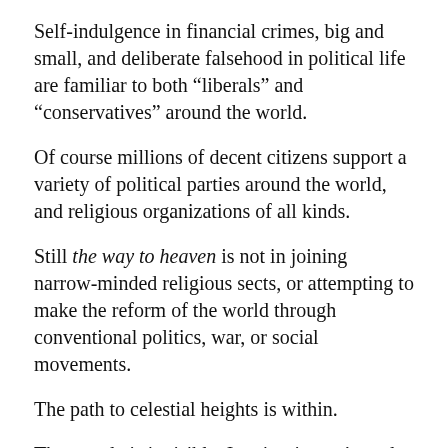Self-indulgence in financial crimes, big and small, and deliberate falsehood in political life are familiar to both “liberals” and “conservatives” around the world.
Of course millions of decent citizens support a variety of political parties around the world, and religious organizations of all kinds.
Still the way to heaven is not in joining narrow-minded religious sects, or attempting to make the reform of the world through conventional politics, war, or social movements.
The path to celestial heights is within.
The temple is invisible. It exists in one’s soul. Living in harmony with the sky begins with understanding the neurotic mechanisms of mutual hatred and ignorance.